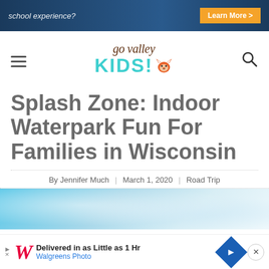[Figure (screenshot): Top advertisement banner with dark blue background, text 'school experience?' in white italic, and an orange 'Learn More >' button on the right.]
[Figure (logo): Go Valley KIDS! logo with fox mascot. 'go valley' in brown italic serif font, 'KIDS!' in large teal bold sans-serif, with an orange fox face icon.]
Splash Zone: Indoor Waterpark Fun For Families in Wisconsin
By Jennifer Much | March 1, 2020 | Road Trip
[Figure (photo): Partial photo showing water and splashing, blue and white tones, the top portion of a waterpark or splash zone image.]
[Figure (screenshot): Bottom advertisement banner for Walgreens Photo. Shows Walgreens 'W' logo in red italic, text 'Delivered in as Little as 1 Hr' in bold and 'Walgreens Photo' in blue, a blue diamond navigation icon, and an X close button.]